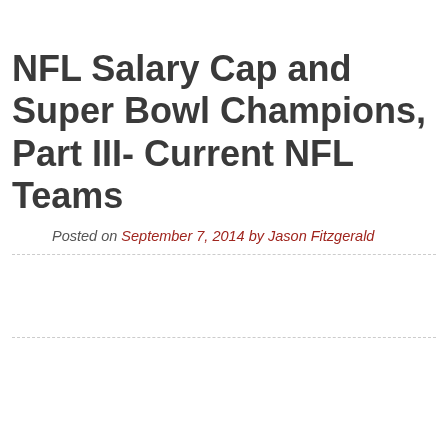NFL Salary Cap and Super Bowl Champions, Part III- Current NFL Teams
Posted on September 7, 2014 by Jason Fitzgerald